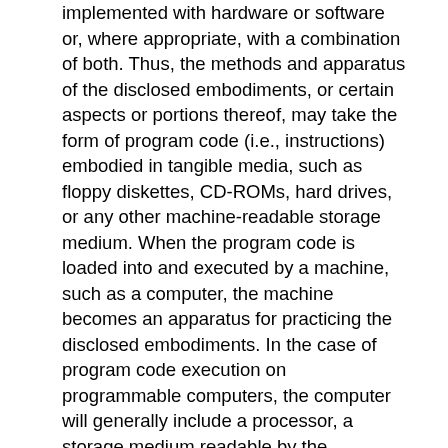implemented with hardware or software or, where appropriate, with a combination of both. Thus, the methods and apparatus of the disclosed embodiments, or certain aspects or portions thereof, may take the form of program code (i.e., instructions) embodied in tangible media, such as floppy diskettes, CD-ROMs, hard drives, or any other machine-readable storage medium. When the program code is loaded into and executed by a machine, such as a computer, the machine becomes an apparatus for practicing the disclosed embodiments. In the case of program code execution on programmable computers, the computer will generally include a processor, a storage medium readable by the processor (including volatile and non-volatile memory and/or storage elements), at least one input device and at least one output device. One or more programs are preferably implemented in a high level procedural or object oriented programming language to communicate with a computer system. However, the program(s) can be implemented in assembly or machine language, if